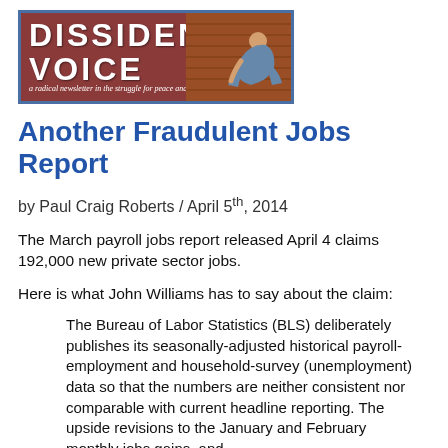[Figure (logo): Dissident Voice logo — a radical newsletter in the struggle for peace and social justice, with image of child on ground]
Another Fraudulent Jobs Report
by Paul Craig Roberts / April 5th, 2014
The March payroll jobs report released April 4 claims 192,000 new private sector jobs.
Here is what John Williams has to say about the claim:
The Bureau of Labor Statistics (BLS) deliberately publishes its seasonally-adjusted historical payroll-employment and household-survey (unemployment) data so that the numbers are neither consistent nor comparable with current headline reporting. The upside revisions to the January and February monthly jobs gains, and